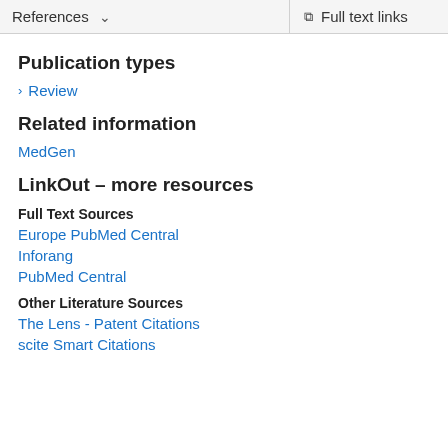References | Full text links
Publication types
Review
Related information
MedGen
LinkOut – more resources
Full Text Sources
Europe PubMed Central
Inforang
PubMed Central
Other Literature Sources
The Lens - Patent Citations
scite Smart Citations